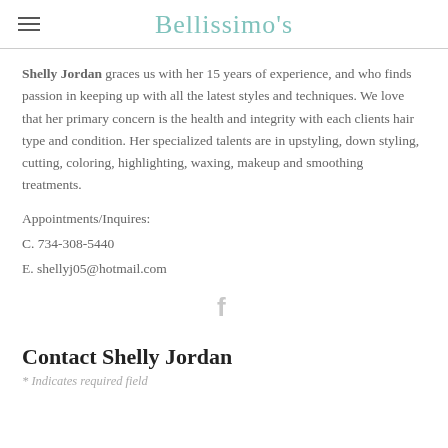Bellissimo's
Shelly Jordan graces us with her 15 years of experience, and who finds passion in keeping up with all the latest styles and techniques. We love that her primary concern is the health and integrity with each clients hair type and condition. Her specialized talents are in upstyling, down styling, cutting, coloring, highlighting, waxing, makeup and smoothing treatments.
Appointments/Inquires:
C. 734-308-5440
E. shellyj05@hotmail.com
[Figure (logo): Facebook icon 'f' letter in light grey]
Contact Shelly Jordan
* Indicates required field